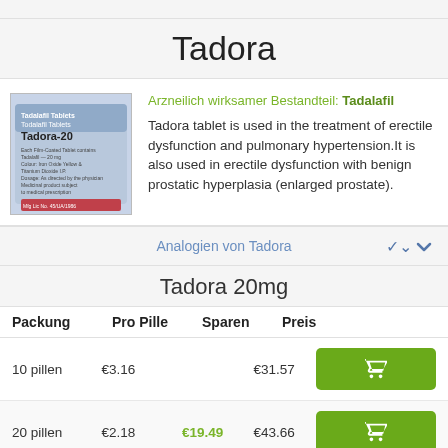Tadora
[Figure (photo): Product image of Tadora-20 Tadalafil Tablets blister packaging]
Arzneilich wirksamer Bestandteil: Tadalafil
Tadora tablet is used in the treatment of erectile dysfunction and pulmonary hypertension.It is also used in erectile dysfunction with benign prostatic hyperplasia (enlarged prostate).
Analogien von Tadora
Tadora 20mg
| Packung | Pro Pille | Sparen | Preis |  |
| --- | --- | --- | --- | --- |
| 10 pillen | €3.16 |  | €31.57 |  |
| 20 pillen | €2.18 | €19.49 | €43.66 |  |